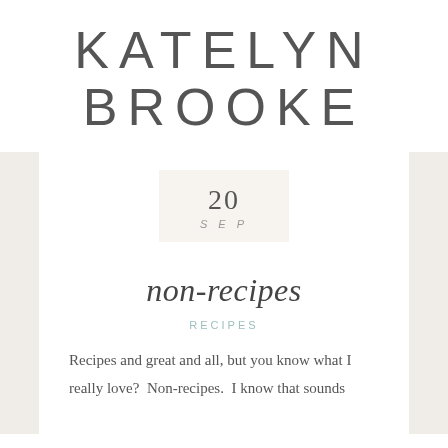KATELYN BROOKE
20
SEP
non-recipes
RECIPES
Recipes and great and all, but you know what I really love?  Non-recipes.  I know that sounds